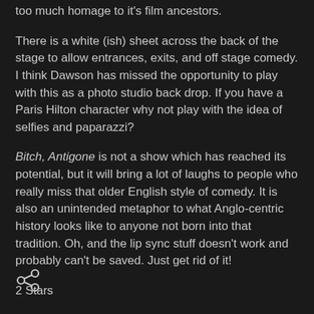too much homage to it's film ancestors.
There is a white (ish) sheet across the back of the stage to allow entrances, exits, and off stage comedy. I think Dawson has missed the opportunity to play with this as a photo studio back drop. If you have a Paris Hilton character why not play with the idea of selfies and paparazzi?
Bitch, Antigone is not a show which has reached its potential, but it will bring a lot of laughs to people who really miss that older English style of comedy. It is also an unintended metaphor to what Anglo-centric history looks like to anyone not born into that tradition. Oh, and the lip sync stuff doesn't work and probably can't be saved. Just get rid of it!
2 Stars
[Figure (other): Share icon (social sharing button)]